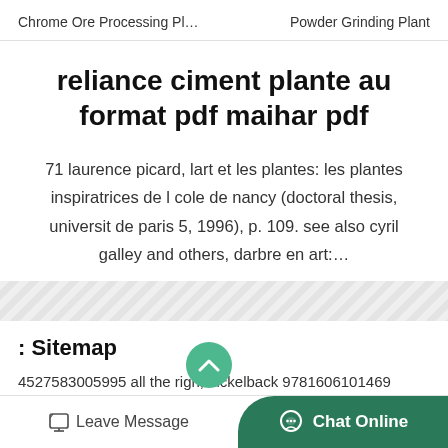Chrome Ore Processing Pl…    Powder Grinding Plant
reliance ciment plante au format pdf maihar pdf
71 laurence picard, lart et les plantes: les plantes inspiratrices de l cole de nancy (doctoral thesis, universit de paris 5, 1996), p. 109. see also cyril galley and others, darbre en art:…
: Sitemap
4527583005995 all the righ, nickelback 9781606101469 1606101463 easy on my heart the midnight poetry of maggie e. estes, maggie e. estes 7898103500779 smoking hip hop, various…
Leave Message   Chat Online